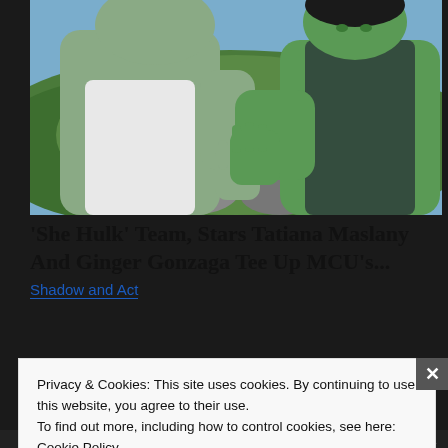[Figure (photo): Scene from 'She-Hulk': two CGI green-skinned characters facing each other with hands pressed together in a training/sparring pose, outdoor jungle background.]
'She Hulk' Team, Stars Tatiana Maslany And Ginger Gonzaga Tee Up MCU's...
Shadow and Act
Privacy & Cookies: This site uses cookies. By continuing to use this website, you agree to their use.
To find out more, including how to control cookies, see here:
Cookie Policy